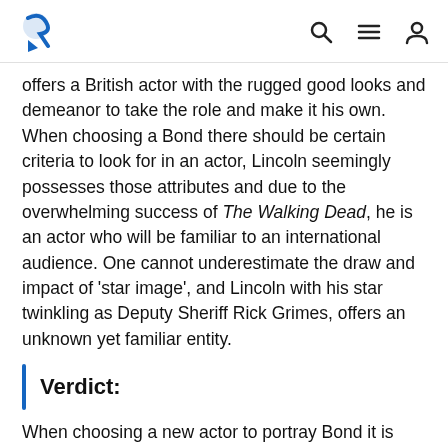[Logo] [Search] [Menu] [User]
offers a British actor with the rugged good looks and demeanor to take the role and make it his own. When choosing a Bond there should be certain criteria to look for in an actor, Lincoln seemingly possesses those attributes and due to the overwhelming success of The Walking Dead, he is an actor who will be familiar to an international audience. One cannot underestimate the draw and impact of ‘star image’, and Lincoln with his star twinkling as Deputy Sheriff Rick Grimes, offers an unknown yet familiar entity.
Verdict:
When choosing a new actor to portray Bond it is ultimately  finding the balance between: an actor who is known through an impressive yet steady body whilst